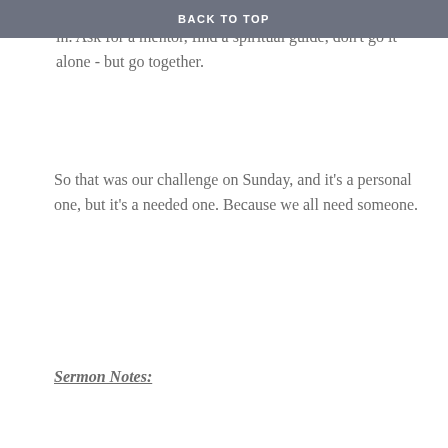BACK TO TOP
someone who is journeying with you, to invite someone in. Ask for a mentor, find a spiritual guide, don't go it alone - but go together.
So that was our challenge on Sunday, and it's a personal one, but it's a needed one. Because we all need someone.
Sermon Notes: